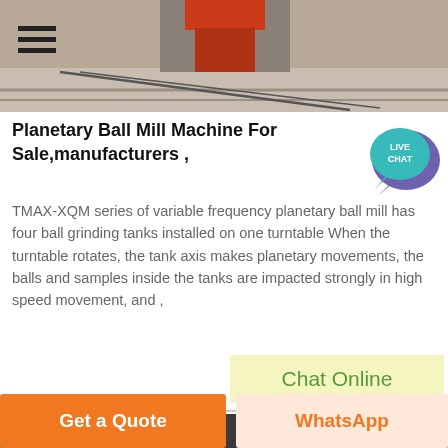[Figure (photo): Top banner photo of industrial machinery/ball mill equipment outdoors on concrete]
Planetary Ball Mill Machine For Sale,manufacturers ,
TMAX-XQM series of variable frequency planetary ball mill has four ball grinding tanks installed on one turntable When the turntable rotates, the tank axis makes planetary movements, the balls and samples inside the tanks are impacted strongly in high speed movement, and ,
[Figure (other): Live Chat speech bubble icon in purple/teal]
Chat Online
[Figure (photo): Bottom banner photo of industrial equipment including large tank and duct]
Get a Quote
WhatsApp